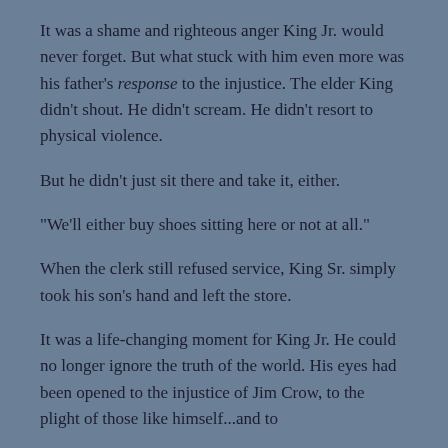It was a shame and righteous anger King Jr. would never forget. But what stuck with him even more was his father's response to the injustice. The elder King didn't shout. He didn't scream. He didn't resort to physical violence.
But he didn't just sit there and take it, either.
“We’ll either buy shoes sitting here or not at all.”
When the clerk still refused service, King Sr. simply took his son’s hand and left the store.
It was a life-changing moment for King Jr. He could no longer ignore the truth of the world. His eyes had been opened to the injustice of Jim Crow, to the plight of those like himself…and to